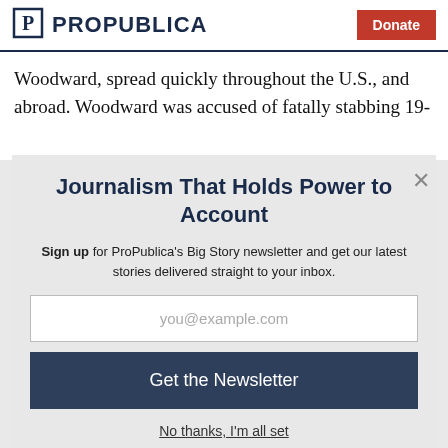ProPublica | Donate
Woodward, spread quickly throughout the U.S., and abroad. Woodward was accused of fatally stabbing 19-
Journalism That Holds Power to Account
Sign up for ProPublica's Big Story newsletter and get our latest stories delivered straight to your inbox.
you@example.com
Get the Newsletter
No thanks, I'm all set
This site is protected by reCAPTCHA and the Google Privacy Policy and Terms of Service apply.